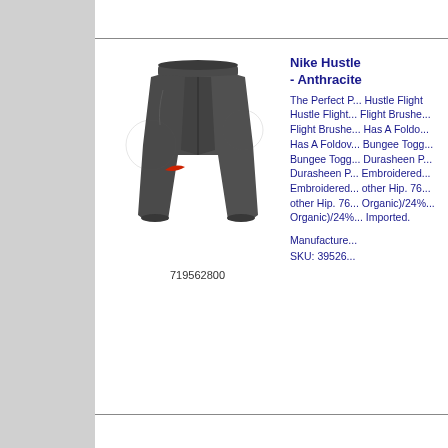[Figure (photo): Nike Hustle Flight athletic pants in dark anthracite/charcoal color with red Nike swoosh logo on the left leg, shown laid flat]
719562800
Nike Hustle - Anthracite
The Perfect P... Hustle Flight... Flight Brushe... Has A Foldo... Bungee Togg... Durasheen P... Embroidered... other Hip. 76... Organic)/24%... Imported.
Manufacture... SKU: 39526...